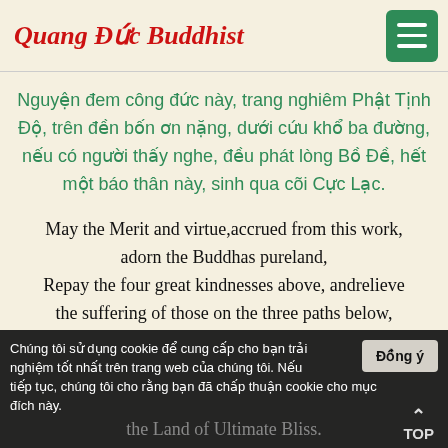Quang Duc Buddhist
Nguyện đem công đức này, trang nghiêm Phật Tịnh Độ, trên đền bốn ơn nặng, dưới cứu khổ ba đường, nếu có người thấy nghe, đều phát lòng Bồ Đề, hết một báo thân này, sinh qua cõi Cực Lạc.
May the Merit and virtue,accrued from this work, adorn the Buddhas pureland, Repay the four great kindnesses above, andrelieve the suffering of those on the three paths below,
Chúng tôi sử dụng cookie để cung cấp cho bạn trải nghiệm tốt nhất trên trang web của chúng tôi. Nếu tiếp tục, chúng tôi cho rằng bạn đã chấp thuận cookie cho mục đích này.
Đồng ý
the Land of Ultimate Bliss.
TOP